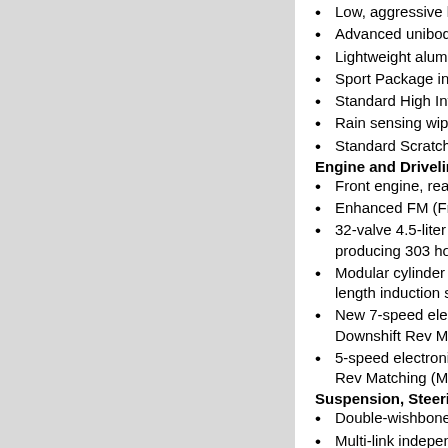Low, aggressive hoodline and a
Advanced unibody construction
Lightweight aluminum doors, ho
Sport Package includes unique
Standard High Intensity Discha
Rain sensing wipers
Standard Scratch Shield paint,
Engine and Driveline
Front engine, rear-wheel drive (
Enhanced FM (Front Mid-ship)
32-valve 4.5-liter DOHC V8 pro producing 303 horsepower and
Modular cylinder head design, l length induction system
New 7-speed electronically con Downshift Rev Matching (M35 R
5-speed electronically controlle Rev Matching (M35x AWD, M45
Suspension, Steering and Bra
Double-wishbone independent s
Multi-link independent rear susp
Front and rear stabilizer bars
4-wheel vented disc brakes with Distribution (EBD) and Brake As
Vehicle Dynamic Control (VDC)
Power-assisted steering system
18-inch or 19-inch aluminum-alu
Interior Features
Inviting interior with revised alu
Large cabin space, able to fit fiv